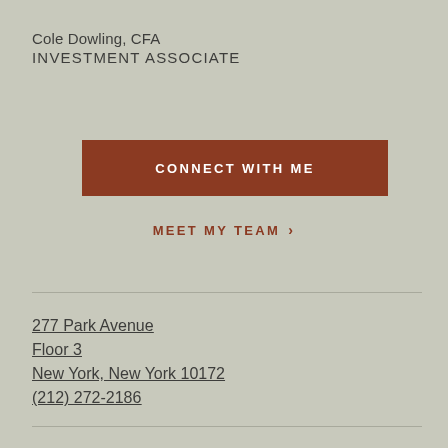Cole Dowling, CFA
INVESTMENT ASSOCIATE
CONNECT WITH ME
MEET MY TEAM ›
277 Park Avenue
Floor 3
New York, New York 10172
(212) 272-2186